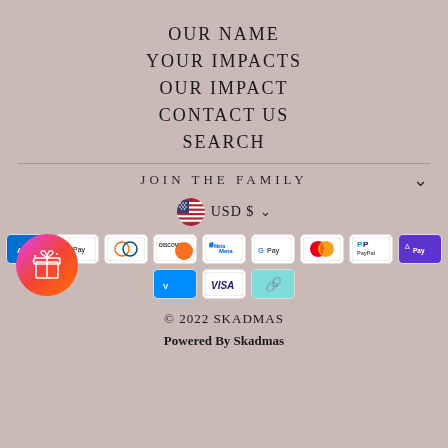OUR NAME
YOUR IMPACTS
OUR IMPACT
CONTACT US
SEARCH
JOIN THE FAMILY
[Figure (logo): Gift box icon in a gradient purple-red-orange circle]
USD $
[Figure (infographic): Payment method badges: Amex, Apple Pay, Diners Club, Discover, Meta Pay, Google Pay, Mastercard, PayPal, Shop Pay, Venmo, Visa, Afterpay]
© 2022 SKADMAS
Powered By Skadmas